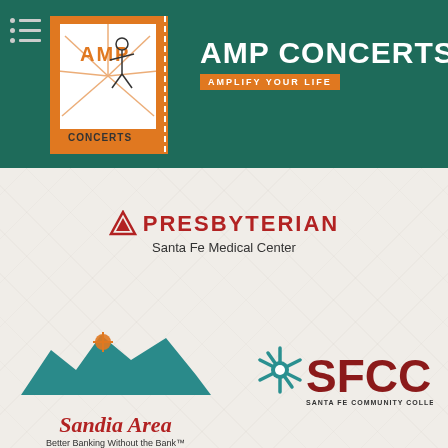[Figure (logo): AMP Concerts header logo with teal background. Left side shows AMP Concerts logo with orange background and stick figure. Right side shows AMP CONCERTS text in white bold and AMPLIFY YOUR LIFE tagline in orange rectangle.]
[Figure (logo): Presbyterian Santa Fe Medical Center logo with red triangle symbol and bold red text PRESBYTERIAN, subtitle Santa Fe Medical Center in dark text.]
[Figure (logo): Sandia Area Federal Credit Union logo with teal mountain silhouette, red bold italic Sandia Area text, tagline Better Banking Without the Bank.]
[Figure (logo): SFCC Santa Fe Community College logo with teal Zia symbol and dark red bold SFCC text with SANTA FE COMMUNITY COLLEGE subtitle.]